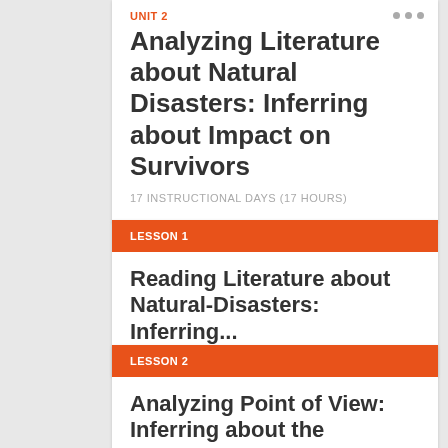UNIT 2
Analyzing Literature about Natural Disasters: Inferring about Impact on Survivors
17 INSTRUCTIONAL DAYS (17 HOURS)
LESSON 1
Reading Literature about Natural-Disasters: Inferring...
1 HOUR
LESSON 2
Analyzing Point of View: Inferring about the Natural...